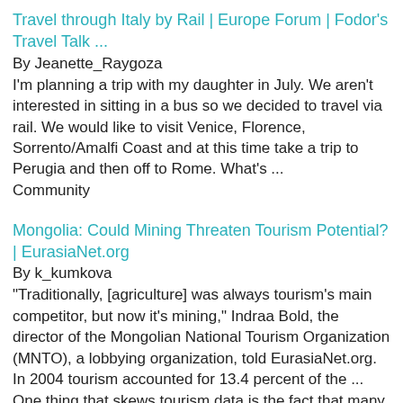Travel through Italy by Rail | Europe Forum | Fodor's Travel Talk ...
By Jeanette_Raygoza
I'm planning a trip with my daughter in July. We aren't interested in sitting in a bus so we decided to travel via rail. We would like to visit Venice, Florence, Sorrento/Amalfi Coast and at this time take a trip to Perugia and then off to Rome. What's ...
Community
Mongolia: Could Mining Threaten Tourism Potential? | EurasiaNet.org
By k_kumkova
"Traditionally, [agriculture] was always tourism's main competitor, but now it's mining," Indraa Bold, the director of the Mongolian National Tourism Organization (MNTO), a lobbying organization, told EurasiaNet.org. In 2004 tourism accounted for 13.4 percent of the ... One thing that skews tourism data is the fact that many foreigners traveling to Mongolia ostensibly to pursue business opportunities, enter the country on tourist visas. Government figures state